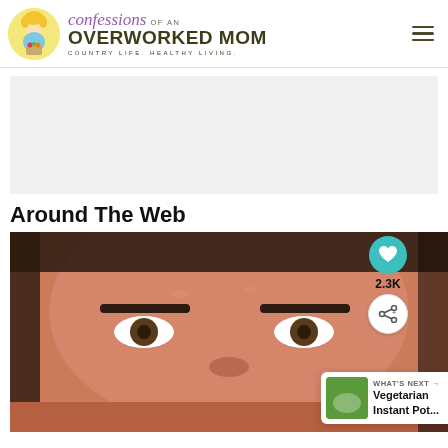confessions OF AN OVERWORKED MOM — COUNTRY LIFE. HEALTHY LIVING.
[Figure (other): Advertisement / banner placeholder area, light gray background]
Around The Web
[Figure (photo): Close-up photo of a man's face (heavy-set, dark hair, reddish skin). Social overlay: heart icon with 2.3K count, share icon. 'WHAT'S NEXT → Vegetarian Instant Pot...' widget at bottom right.]